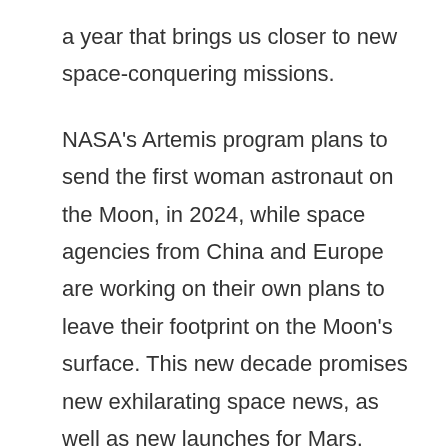a year that brings us closer to new space-conquering missions.
NASA's Artemis program plans to send the first woman astronaut on the Moon, in 2024, while space agencies from China and Europe are working on their own plans to leave their footprint on the Moon's surface. This new decade promises new exhilarating space news, as well as new launches for Mars.
One of the most explored bodies in our system solar, Mars proves to be a challenge the humankind is eager to overcome. 2020 brings a favorable alignment between Mars and Earth that reduces the distance